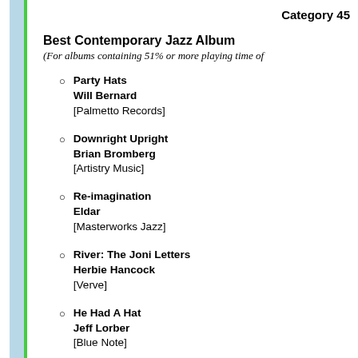Category 45
Best Contemporary Jazz Album
(For albums containing 51% or more playing time of
Party Hats
Will Bernard
[Palmetto Records]
Downright Upright
Brian Bromberg
[Artistry Music]
Re-imagination
Eldar
[Masterworks Jazz]
River: The Joni Letters
Herbie Hancock
[Verve]
He Had A Hat
Jeff Lorber
[Blue Note]